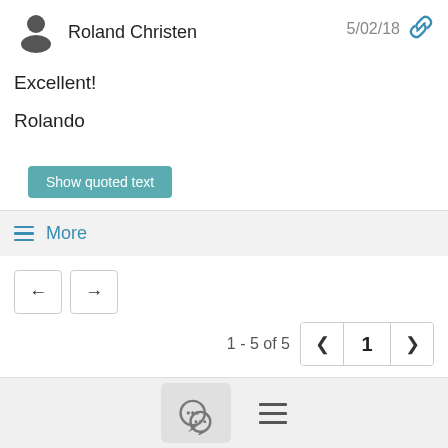[Figure (illustration): User avatar icon (silhouette person) next to name Roland Christen, with date 5/02/18 and a link chain icon on the right]
Excellent!
Rolando
Show quoted text
≡ More
← →
1 - 5 of 5
[Figure (screenshot): Bottom navigation bar with chat bubble icon button and hamburger menu icon]